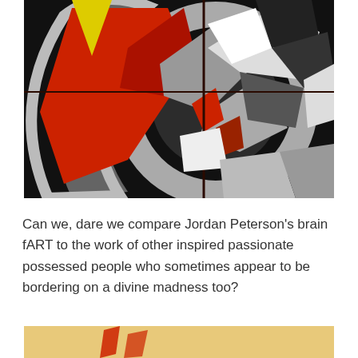[Figure (illustration): Abstract geometric artwork with circular forms, angular shapes in black, white, red, gray, and yellow — split composition suggesting dynamic fragmented motion.]
Can we, dare we compare Jordan Peterson's brain fART to the work of other inspired passionate possessed people who sometimes appear to be bordering on a divine madness too?
[Figure (photo): Partial bottom image, yellow/warm tones visible with red element, cropped at page edge.]